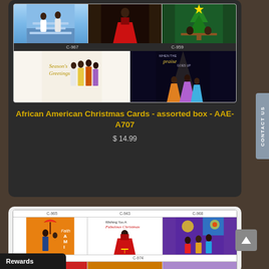[Figure (screenshot): Product listing image grid for African American Christmas Cards assorted box showing multiple greeting card designs with codes C-967, C-959 and lower row with Season's Greetings and 'When the Praise Goes Up' cards]
African American Christmas Cards - assorted box - AAE-A707
$ 14.99
[Figure (screenshot): Bottom product listing showing African American Christmas card image grid with card codes C-965, C-943, C-968, C-909, C-974]
Rewards